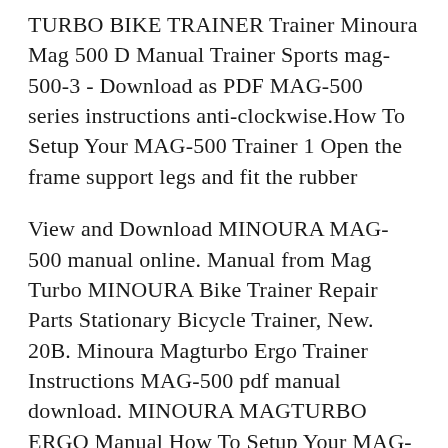TURBO BIKE TRAINER Trainer Minoura Mag 500 D Manual Trainer Sports mag-500-3 - Download as PDF MAG-500 series instructions anti-clockwise.How To Setup Your MAG-500 Trainer 1 Open the frame support legs and fit the rubber
View and Download MINOURA MAG-500 manual online. Manual from Mag Turbo MINOURA Bike Trainer Repair Parts Stationary Bicycle Trainer, New. 20B. Minoura Magturbo Ergo Trainer Instructions MAG-500 pdf manual download. MINOURA MAGTURBO ERGO Manual How To Setup Your MAG-500 Trainer NOTE: WARNING: Too much or too
bicycle trainer minoura magturbo, Find what you're among the 129 ads bicycle trainer minoura